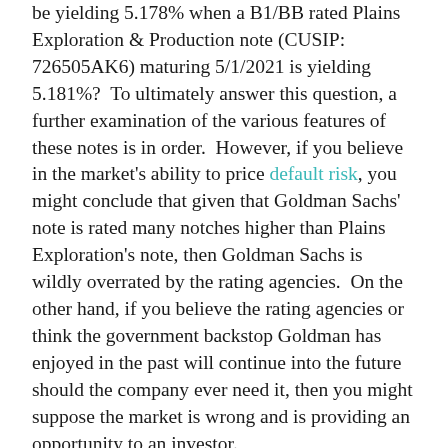be yielding 5.178% when a B1/BB rated Plains Exploration & Production note (CUSIP: 726505AK6) maturing 5/1/2021 is yielding 5.181%?  To ultimately answer this question, a further examination of the various features of these notes is in order.  However, if you believe in the market's ability to price default risk, you might conclude that given that Goldman Sachs' note is rated many notches higher than Plains Exploration's note, then Goldman Sachs is wildly overrated by the rating agencies.  On the other hand, if you believe the rating agencies or think the government backstop Goldman has enjoyed in the past will continue into the future should the company ever need it, then you might suppose the market is wrong and is providing an opportunity to an investor.
Another example from the screen comes to us by way of Bank of America (BAC).  Its 5/13/2021 maturing, Baa1/A-rated, non-callable note (CUSIP: 06051GEH8) is yielding 5.147%.  At the same time, Limited Brands' 4/1/2021